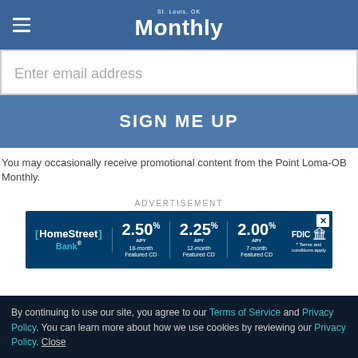Monthly
Enter email address
SIGN ME UP
You may occasionally receive promotional content from the Point Loma-OB Monthly.
ADVERTISEMENT
[Figure (other): HomeStreet Bank advertisement banner showing CD rates: 2.50% APY 18-month Featured CD, 2.25% APY 12-month Featured CD, 2.00% APY 7-month Featured CD, FDIC insured. Terms and conditions apply.]
By continuing to use our site, you agree to our Terms of Service and Privacy Policy. You can learn more about how we use cookies by reviewing our Privacy Policy. Close